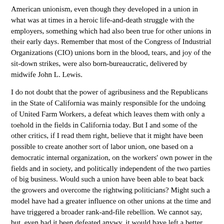American unionism, even though they developed in a union in what was at times in a heroic life-and-death struggle with the employers, something which had also been true for other unions in their early days. Remember that most of the Congress of Industrial Organizations (CIO) unions born in the blood, tears, and joy of the sit-down strikes, were also born-bureaucratic, delivered by midwife John L. Lewis.
I do not doubt that the power of agribusiness and the Republicans in the State of California was mainly responsible for the undoing of United Farm Workers, a defeat which leaves them with only a toehold in the fields in California today. But I and some of the other critics, if I read them right, believe that it might have been possible to create another sort of labor union, one based on a democratic internal organization, on the workers' own power in the fields and in society, and politically independent of the two parties of big business. Would such a union have been able to beat back the growers and overcome the rightwing politicians? Might such a model have had a greater influence on other unions at the time and have triggered a broader rank-and-file rebellion. We cannot say, but, even had it been defeated anywy, it would have left a better legacy on which to build.